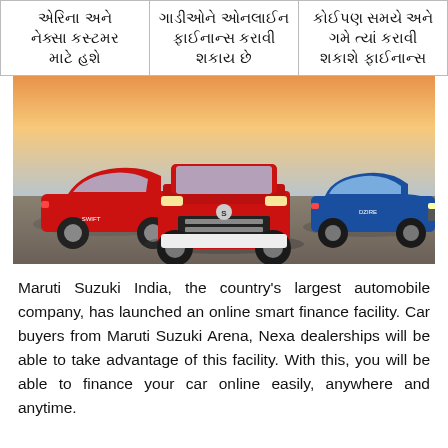| એરિના અને નેક્સા કસ્ટમર માટે હશે | ગાડીઓને ઓનલાઈન ફાઈનાન્સ કરાવી શકાય છે | કોઈપણ સમયે અને ગમે ત્યાં કરાવી શકાશે ફાઈનાન્સ |
| --- | --- | --- |
[Figure (photo): Three Maruti Suzuki cars (red Swift hatchback on left, red Vitara Brezza SUV in center, blue Dzire sedan on right) displayed outdoors on a paved surface with a sunset/dusk sky background.]
Maruti Suzuki India, the country's largest automobile company, has launched an online smart finance facility. Car buyers from Maruti Suzuki Arena, Nexa dealerships will be able to take advantage of this facility. With this, you will be able to finance your car online easily, anywhere and anytime.